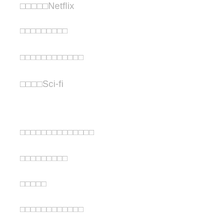□□□□□Netflix
□□□□□□□□□
□□□□□□□□□□□□
□□□□Sci-fi
□□□□□□□□□□□□□□
□□□□□□□□□
□□□□□
□□□□□□□□□□□□